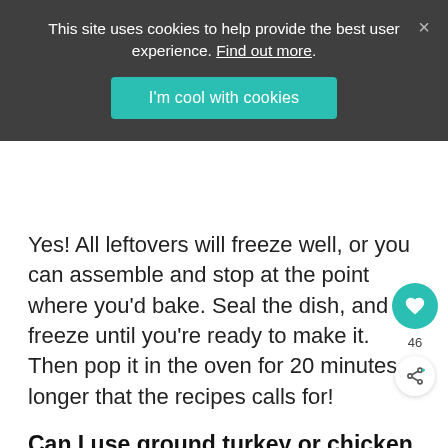[Figure (screenshot): Cookie consent banner overlay with dark semi-transparent background. Text: 'This site uses cookies to help provide the best user experience. Find out more.' Teal button labeled "I'm cool with cookies". Close X button top right.]
Yes! All leftovers will freeze well, or you can assemble and stop at the point where you'd bake. Seal the dish, and freeze until you're ready to make it. Then pop it in the oven for 20 minutes longer that the recipes calls for!
Can I use ground turkey or chicken instead of beef?
Yes! Just know that the hotdish will be a little less flavorful. If you do this, I would add two tablespoons of olive oil to the pan when cooking the meat and onion/garlic, to add